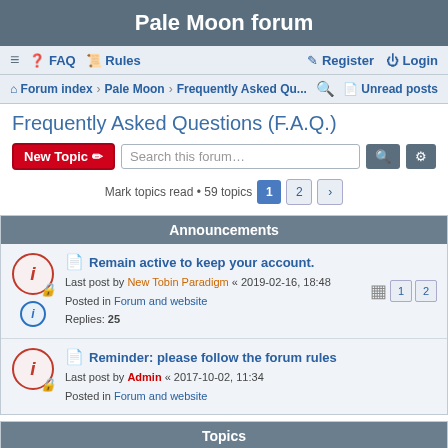Pale Moon forum
≡  FAQ  Rules  Register  Login
Forum index · Pale Moon · Frequently Asked Qu...  Unread posts
Frequently Asked Questions (F.A.Q.)
New Topic  Search this forum…
Mark topics read • 59 topics  1  2  >
Announcements
Remain active to keep your account.
Last post by New Tobin Paradigm « 2019-02-16, 18:48
Posted in Forum and website
Replies: 25
Reminder: please follow the forum rules
Last post by Admin « 2017-10-02, 11:34
Posted in Forum and website
Topics
How are security vulnerabilities handled?
Last post by Moonchild « 2020-01-09, 16:26